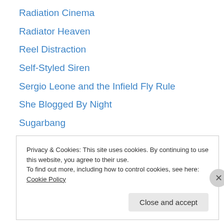Radiation Cinema
Radiator Heaven
Reel Distraction
Self-Styled Siren
Sergio Leone and the Infield Fly Rule
She Blogged By Night
Sugarbang
Sunset Gun
Teleport City
Temple of Schlock
The Last Drive-In
The Southern California Drive-In Society
The Video Watchblog
Privacy & Cookies: This site uses cookies. By continuing to use this website, you agree to their use.
To find out more, including how to control cookies, see here: Cookie Policy
Close and accept